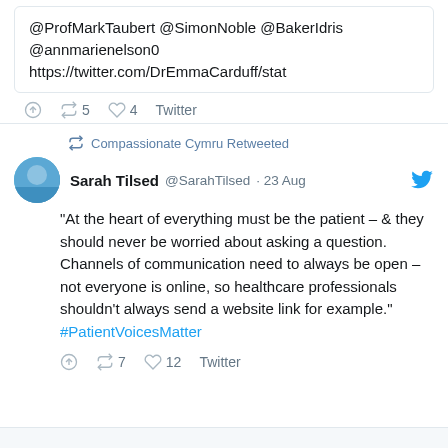@ProfMarkTaubert @SimonNoble @BakerIdris @annmarienelson0 https://twitter.com/DrEmmaCarduff/stat
reply 5 retweet 4 heart Twitter
Compassionate Cymru Retweeted
Sarah Tilsed @SarahTilsed · 23 Aug
"At the heart of everything must be the patient – & they should never be worried about asking a question. Channels of communication need to always be open – not everyone is online, so healthcare professionals shouldn't always send a website link for example." #PatientVoicesMatter
reply 7 retweet 12 heart Twitter